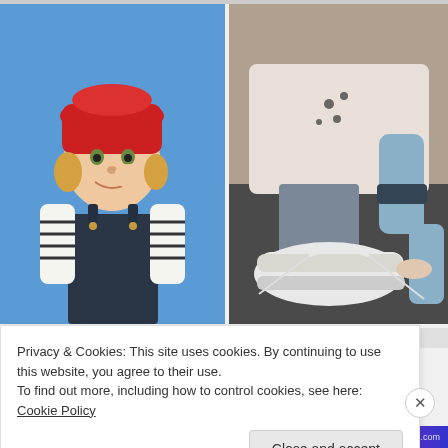[Figure (photo): Child with red knit hat on blue background, wearing striped shirt and dark overalls, eating something and smiling]
[Figure (photo): Child tying shoelace on white sneaker, wearing light grey sweatshirt with panda print]
Privacy & Cookies: This site uses cookies. By continuing to use this website, you agree to their use.
To find out more, including how to control cookies, see here: Cookie Policy
Close and accept